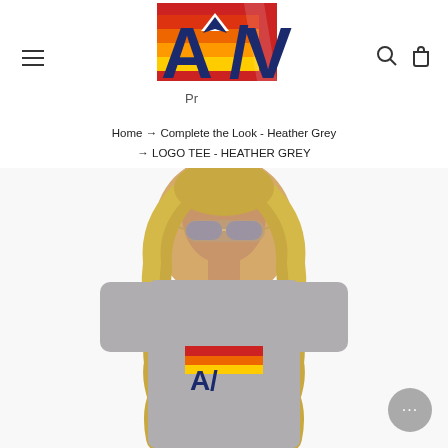[Figure (logo): AV brand logo with colorful stripe background (red, orange, yellow) and dark navy AV letters with triangle/pyramid icon]
Home → Complete the Look - Heather Grey → LOGO TEE - HEATHER GREY
[Figure (photo): Woman with blonde wavy hair wearing aviator sunglasses and a heather grey t-shirt with the AV logo in red, orange, yellow, and blue colors]